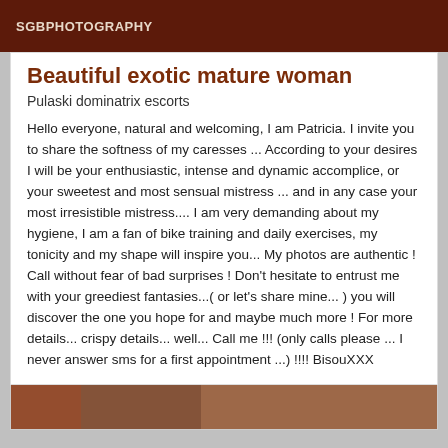SGBPHOTOGRAPHY
Beautiful exotic mature woman
Pulaski dominatrix escorts
Hello everyone, natural and welcoming, I am Patricia. I invite you to share the softness of my caresses ... According to your desires I will be your enthusiastic, intense and dynamic accomplice, or your sweetest and most sensual mistress ... and in any case your most irresistible mistress.... I am very demanding about my hygiene, I am a fan of bike training and daily exercises, my tonicity and my shape will inspire you... My photos are authentic ! Call without fear of bad surprises ! Don't hesitate to entrust me with your greediest fantasies...( or let's share mine... ) you will discover the one you hope for and maybe much more ! For more details... crispy details... well... Call me !!! (only calls please ... I never answer sms for a first appointment ...) !!!! BisouXXX
[Figure (photo): Photo strip at bottom of page showing partial images]